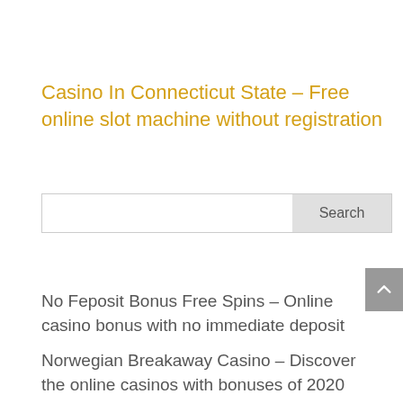Casino In Connecticut State – Free online slot machine without registration
Search
No Feposit Bonus Free Spins – Online casino bonus with no immediate deposit
Norwegian Breakaway Casino – Discover the online casinos with bonuses of 2020